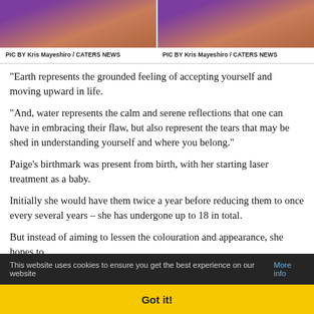[Figure (photo): Two side-by-side photos showing skin close-ups on purple/beige background, cropped at top]
PIC BY Kris Mayeshiro / CATERS NEWS   PIC BY Kris Mayeshiro / CATERS NEWS
“Earth represents the grounded feeling of accepting yourself and moving upward in life.
“And, water represents the calm and serene reflections that one can have in embracing their flaw, but also represent the tears that may be shed in understanding yourself and where you belong.”
Paige’s birthmark was present from birth, with her starting laser treatment as a baby.
Initially she would have them twice a year before reducing them to once every several years – she has undergone up to 18 in total.
But instead of aiming to lessen the colouration and appearance, she hopes to
This website uses cookies to ensure you get the best experience on our website More info
Got it!